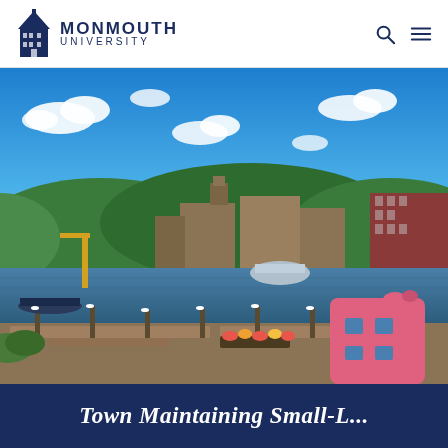[Figure (logo): Monmouth University logo with building icon and text]
[Figure (photo): Aerial waterfront harbor scene with docks, boats, city buildings and trees in background, pink pig sculpture in foreground right, blue sky with white clouds]
Town Maintaining Small-L...